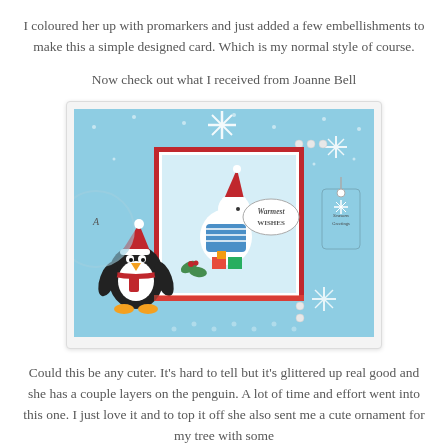I coloured her up with promarkers and just added a few embellishments to make this a simple designed card. Which is my normal style of course.
Now check out what I received from Joanne Bell
[Figure (photo): A handmade Christmas card featuring a cartoon goose/duck character wearing a Santa hat and blue striped outfit, carrying gifts, with 'Warmest Wishes' text. The card is decorated with snowflakes on blue polka dot paper and a red layered mat. In front is a penguin ornament/figurine wearing a Santa hat and scarf. Additional holiday decorations and a tag are visible in the background.]
Could this be any cuter. It's hard to tell but it's glittered up real good and she has a couple layers on the penguin. A lot of time and effort went into this one. I just love it and to top it off she also sent me a cute ornament for my tree with some